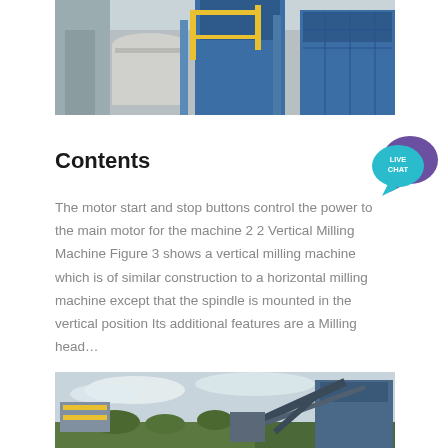[Figure (photo): Industrial milling machine facility with blue structures, pipes, and yellow scaffolding/railings against a light background.]
Contents
[Figure (logo): Live Chat speech bubble badge in teal/purple colors with text 'LIVE CHAT'.]
The motor start and stop buttons control the power to the main motor for the machine 2 2 Vertical Milling Machine Figure 3 shows a vertical milling machine which is of similar construction to a horizontal milling machine except that the spindle is mounted in the vertical position Its additional features are a Milling head…
[Figure (photo): Outdoor industrial machinery scene with heavy equipment, trees in background, cloudy sky, and blue/grey metal structures.]